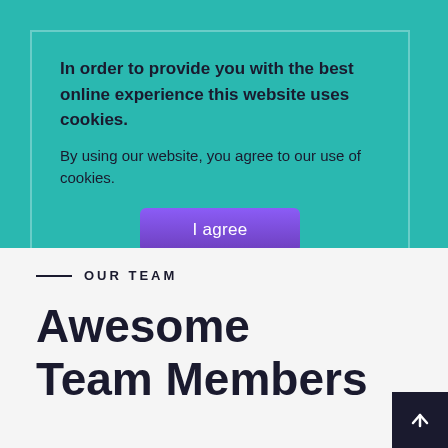In order to provide you with the best online experience this website uses cookies.
By using our website, you agree to our use of cookies.
I agree
Dana Bhavsar
General Manager
OUR TEAM
Awesome Team Members